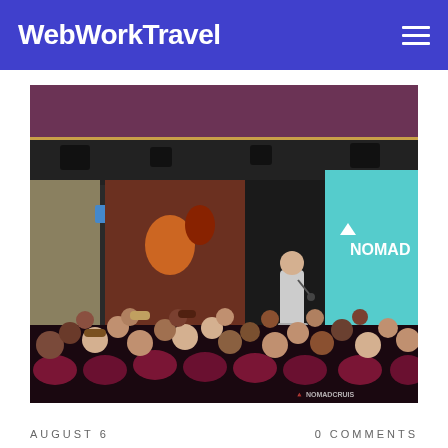WebWorkTravel
[Figure (photo): A presenter standing on a stage holding a microphone in front of a projected screen showing the NOMAD logo, with an audience seated in red chairs watching the presentation in what appears to be a cruise ship venue. Watermark reads NOMADCRUISE.]
AUGUST 6
0 COMMENTS